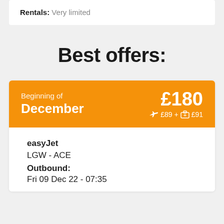Rentals: Very limited
Best offers:
Beginning of December  £180  ✈ £89 + 🧳 £91
easyJet
LGW - ACE
Outbound:
Fri 09 Dec 22 - 07:35